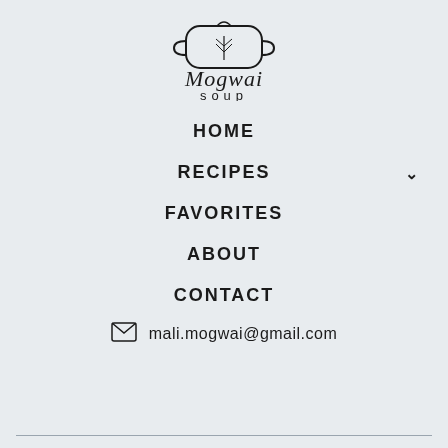[Figure (logo): Mogwai Soup logo with a hand-drawn pot illustration above script text 'Mogwai' and sans-serif text 'soup']
HOME
RECIPES
FAVORITES
ABOUT
CONTACT
mali.mogwai@gmail.com